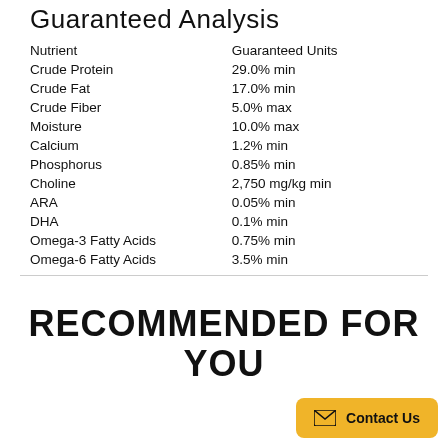Guaranteed Analysis
| Nutrient | Guaranteed Units |
| --- | --- |
| Crude Protein | 29.0% min |
| Crude Fat | 17.0% min |
| Crude Fiber | 5.0% max |
| Moisture | 10.0% max |
| Calcium | 1.2% min |
| Phosphorus | 0.85% min |
| Choline | 2,750 mg/kg min |
| ARA | 0.05% min |
| DHA | 0.1% min |
| Omega-3 Fatty Acids | 0.75% min |
| Omega-6 Fatty Acids | 3.5% min |
RECOMMENDED FOR YOU
Contact Us